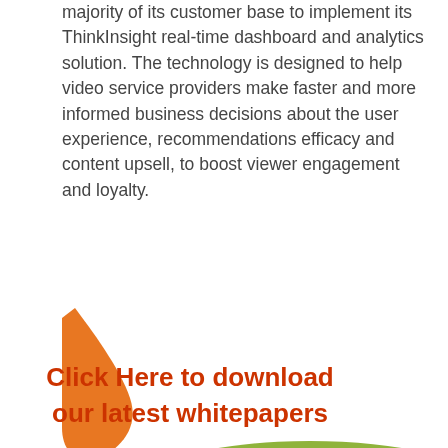majority of its customer base to implement its ThinkInsight real-time dashboard and analytics solution. The technology is designed to help video service providers make faster and more informed business decisions about the user experience, recommendations efficacy and content upsell, to boost viewer engagement and loyalty.
[Figure (infographic): Orange triangular/teardrop shape on the left with a green semicircle at the bottom. Bold orange text reads 'Click Here to download our latest whitepapers'.]
MOST RECENT IN MAJOR BUSINESSES
1. Firstlight Media resurrects Quickplay brand
2. Chicken Soup For The Soul Entertainment enhances leadership team
3. Sky unveils assistant commissioner programme